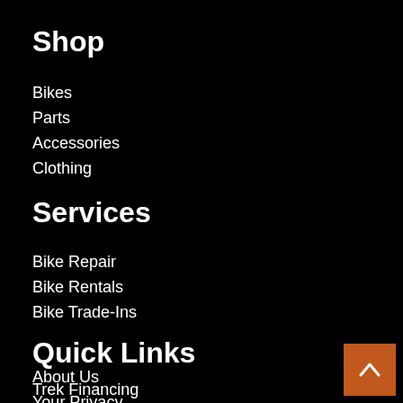Shop
Bikes
Parts
Accessories
Clothing
Services
Bike Repair
Bike Rentals
Bike Trade-Ins
Quick Links
About Us
Trek Financing
Your Privacy